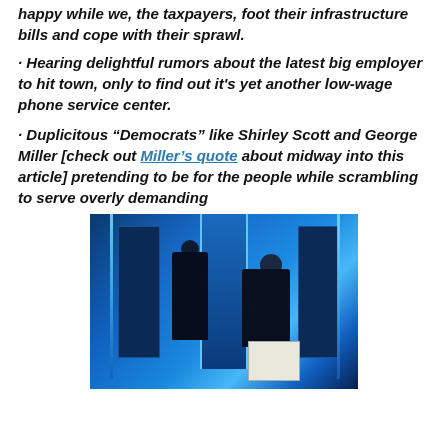happy while we, the taxpayers, foot their infrastructure bills and cope with their sprawl.
· Hearing delightful rumors about the latest big employer to hit town, only to find out it's yet another low-wage phone service center.
· Duplicitous “Democrats” like Shirley Scott and George Miller [check out Miller's quote about midway into this article] pretending to be for the people while scrambling to serve overly demanding
[Figure (photo): Indoor scene with blue ambient lighting. A large illuminated doorway/entrance with blue LED light strips visible. Two silhouetted figures standing in the room; one on the left appears to be a man, one on the right appears to be a woman. A white box or sign is visible near the right figure. The ambiance is that of a corporate or event space with dramatic blue lighting.]